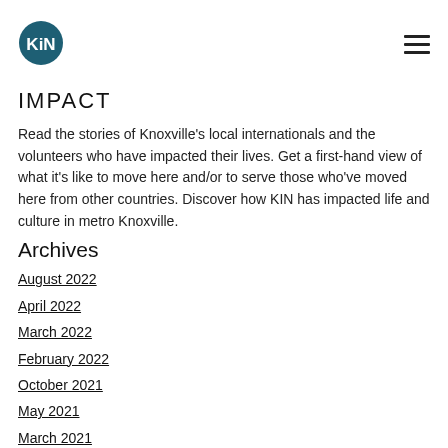KIN logo and navigation menu
IMPACT
Read the stories of Knoxville's local internationals and the volunteers who have impacted their lives. Get a first-hand view of what it's like to move here and/or to serve those who've moved here from other countries. Discover how KIN has impacted life and culture in metro Knoxville.
Archives
August 2022
April 2022
March 2022
February 2022
October 2021
May 2021
March 2021